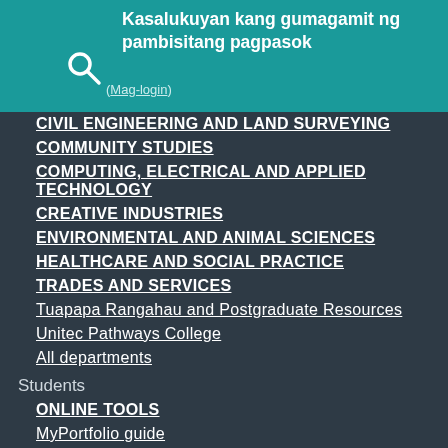Kasalukuyan kang gumagamit ng pambisitang pagpasok
(Mag-login)
CIVIL ENGINEERING AND LAND SURVEYING
COMMUNITY STUDIES
COMPUTING, ELECTRICAL AND APPLIED TECHNOLOGY
CREATIVE INDUSTRIES
ENVIRONMENTAL AND ANIMAL SCIENCES
HEALTHCARE AND SOCIAL PRACTICE
TRADES AND SERVICES
Tuapapa Rangahau and Postgraduate Resources
Unitec Pathways College
All departments
Students
ONLINE TOOLS
MyPortfolio guide
MyUnitec Portal
Student Email Outlook
Ask IMS
Ask IMS orientation
STUDY SUPPORT